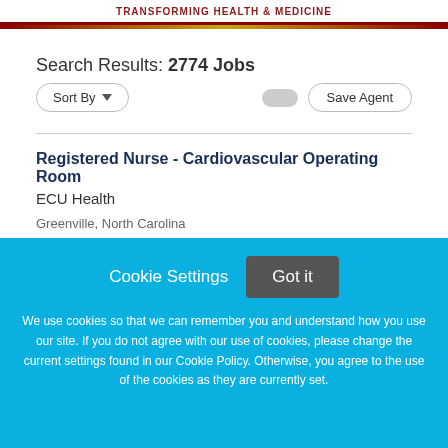TRANSFORMING HEALTH & MEDICINE
Search Results: 2774 Jobs
Sort By   Save Agent
Registered Nurse - Cardiovascular Operating Room
ECU Health
Cookie Settings   Got it
We use cookies so that we can remember you and understand how you use our site. If you do not agree with our use of cookies, please change the current settings found in our Cookie Policy. Otherwise, you agree to the use of the cookies as they are currently set.